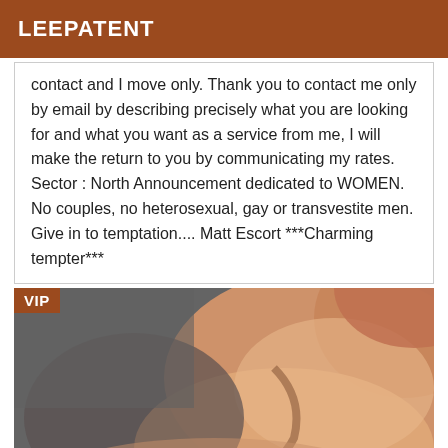LEEPATENT
contact and I move only. Thank you to contact me only by email by describing precisely what you are looking for and what you want as a service from me, I will make the return to you by communicating my rates. Sector : North Announcement dedicated to WOMEN. No couples, no heterosexual, gay or transvestite men. Give in to temptation.... Matt Escort ***Charming tempter***
[Figure (photo): Close-up photo of a person's body/skin with a VIP badge overlay in the top-left corner]